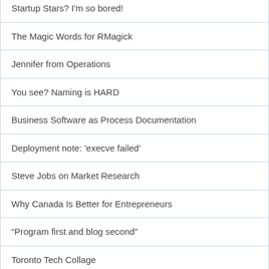Startup Stars? I'm so bored!
The Magic Words for RMagick
Jennifer from Operations
You see? Naming is HARD
Business Software as Process Documentation
Deployment note: 'execve failed'
Steve Jobs on Market Research
Why Canada Is Better for Entrepreneurs
“Program first and blog second”
Toronto Tech Collage
The MacBook Air Is A Roadster
RubyFringe!